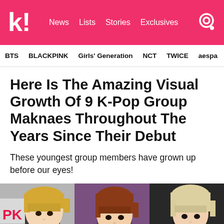k! News Lists Stories Exclusives
BTS  BLACKPINK  Girls' Generation  NCT  TWICE  aespa
Here Is The Amazing Visual Growth Of 9 K-Pop Group Maknaes Throughout The Years Since Their Debut
These youngest group members have grown up before our eyes!
[Figure (photo): Three photos side by side showing K-pop group maknae members at different stages, left photo shows a person with blonde hair, center shows a person with auburn/red hair, right shows a person with light blonde hair]